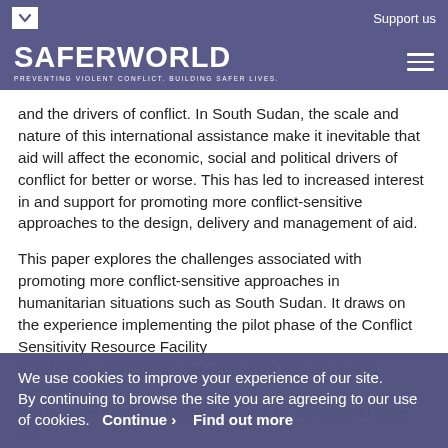Support us
SAFERWORLD — PREVENTING VIOLENT CONFLICT. BUILDING SAFER LIVES.
and the drivers of conflict. In South Sudan, the scale and nature of this international assistance make it inevitable that aid will affect the economic, social and political drivers of conflict for better or worse. This has led to increased interest in and support for promoting more conflict-sensitive approaches to the design, delivery and management of aid.
This paper explores the challenges associated with promoting more conflict-sensitive approaches in humanitarian situations such as South Sudan. It draws on the experience implementing the pilot phase of the Conflict Sensitivity Resource Facility (CSRF) in South Sudan between 2016 and 2018, and presents five lessons to inform future initiatives by donors and other aid actors. It argues that conflict-sensitive approaches must involve systemic organisational change that goes beyond
We use cookies to improve your experience of our site. By continuing to browse the site you are agreeing to our use of cookies.   Continue ›   Find out more